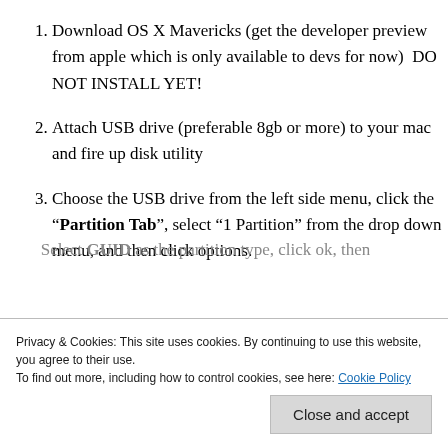Download OS X Mavericks (get the developer preview from apple which is only available to devs for now)  DO NOT INSTALL YET!
Attach USB drive (preferable 8gb or more) to your mac and fire up disk utility
Choose the USB drive from the left side menu, click the “Partition Tab”, select “1 Partition” from the drop down menu, and then click options.
Select GUID as the partition type, click ok, then...
Privacy & Cookies: This site uses cookies. By continuing to use this website, you agree to their use.
To find out more, including how to control cookies, see here: Cookie Policy
Close and accept